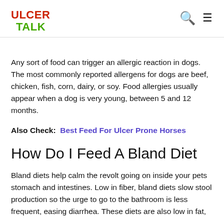ULCER TALK
Any sort of food can trigger an allergic reaction in dogs. The most commonly reported allergens for dogs are beef, chicken, fish, corn, dairy, or soy. Food allergies usually appear when a dog is very young, between 5 and 12 months.
Also Check: Best Feed For Ulcer Prone Horses
How Do I Feed A Bland Diet
Bland diets help calm the revolt going on inside your pets stomach and intestines. Low in fiber, bland diets slow stool production so the urge to go to the bathroom is less frequent, easing diarrhea. These diets are also low in fat,